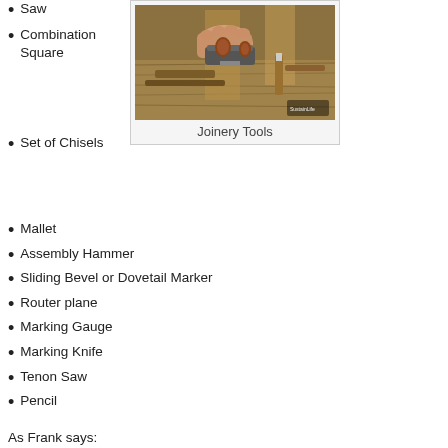Saw
Combination Square
[Figure (photo): Hands working with joinery tools on a wooden workbench, including hand planes and other woodworking tools]
Joinery Tools
Set of Chisels
Mallet
Assembly Hammer
Sliding Bevel or Dovetail Marker
Router plane
Marking Gauge
Marking Knife
Tenon Saw
Pencil
As Frank says: